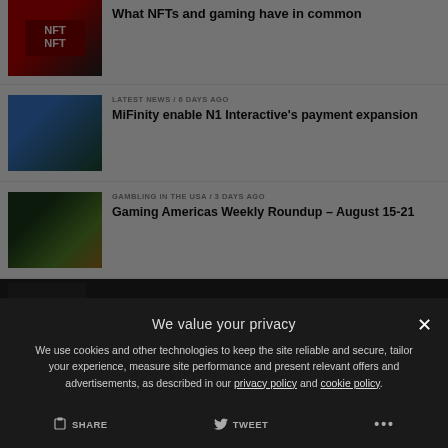[Figure (photo): NFT chip image thumbnail]
What NFTs and gaming have in common
[Figure (photo): Couple smiling at phone thumbnail]
LATEST NEWS / 6 days ago
MiFinity enable N1 Interactive's payment expansion
[Figure (photo): Globe thumbnail]
GAMBLING IN THE USA / 3 days ago
Gaming Americas Weekly Roundup – August 15-21
We value your privacy
We use cookies and other technologies to keep the site reliable and secure, tailor your experience, measure site performance and present relevant offers and advertisements, as described in our privacy policy and cookie policy.
Privacy Preferences
I Agree
SHARE
TWEET